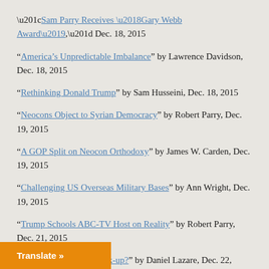“Sam Parry Receives ‘Gary Webb Award’,” Dec. 18, 2015
“America’s Unpredictable Imbalance” by Lawrence Davidson, Dec. 18, 2015
“Rethinking Donald Trump” by Sam Husseini, Dec. 18, 2015
“Neocons Object to Syrian Democracy” by Robert Parry, Dec. 19, 2015
“A GOP Split on Neocon Orthodoxy” by James W. Carden, Dec. 19, 2015
“Challenging US Overseas Military Bases” by Ann Wright, Dec. 19, 2015
“Trump Schools ABC-TV Host on Reality” by Robert Parry, Dec. 21, 2015
“The Coming Saudi Crack-up?” by Daniel Lazare, Dec. 22,
Translate »